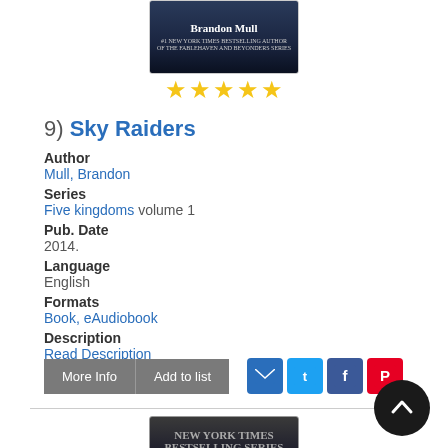[Figure (photo): Book cover for Sky Raiders by Brandon Mull, dark background with author name]
[Figure (other): Five gold star rating]
9) Sky Raiders
Author
Mull, Brandon
Series
Five kingdoms volume 1
Pub. Date
2014.
Language
English
Formats
Book, eAudiobook
Description
Read Description
[Figure (photo): Book cover for Five Kingdoms series at the bottom of the page]